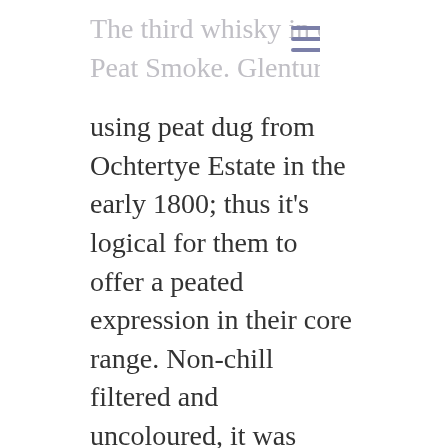The third whisky in our tasting was the 10-year-old Peat Smoke. Glenturret was already
using peat dug from Ochtertye Estate in the early 1800; thus it's logical for them to offer a peated expression in their core range. Non-chill filtered and uncoloured, it was produced using a spirit ratio of 75% peated (somewhere around 30 to 40 ppm) and 25% non-peated, and matured in a combination of European oak, American oak hogsheads and refill butts before being bottled at a generous 50% abv. It will just cost you an additional fiver compared to the Triple Wood, as The Whisky Exchange will sell you one for £52.45 in the UK, while it's not available either in France, and between 39 and 43€ on some German websites that unfortunately cannot ship it to the UK or France anyway.